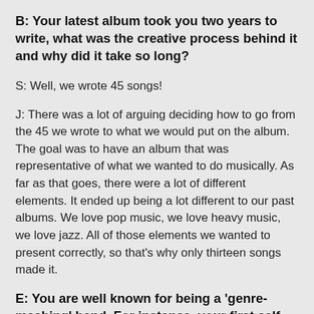B: Your latest album took you two years to write, what was the creative process behind it and why did it take so long?
S: Well, we wrote 45 songs!
J: There was a lot of arguing deciding how to go from the 45 we wrote to what we would put on the album. The goal was to have an album that was representative of what we wanted to do musically. As far as that goes, there were a lot of different elements. It ended up being a lot different to our past albums. We love pop music, we love heavy music, we love jazz. All of those elements we wanted to present correctly, so that’s why only thirteen songs made it.
E: You are well known for being a ‘genre-mashing’ band. For instance, your first self-titled album was